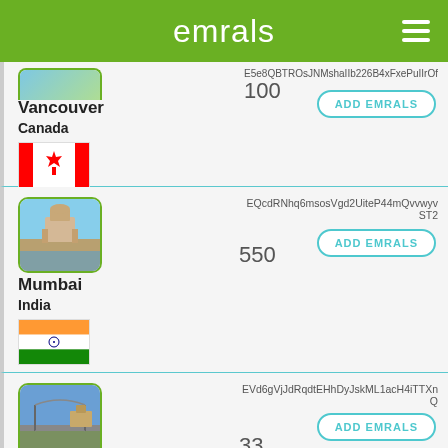emrals
Vancouver Canada 100 E5e8QBTROsJNMshaIIb226B4xFxePuIIrOf ADD EMRALS
Mumbai India 550 EQcdRNhq6msosVgd2UiteP44mQvvwyvST2 ADD EMRALS
Budapest 33 EVd6gVjJdRqdtEHhDyJskML1acH4iTTXnQ ADD EMRALS